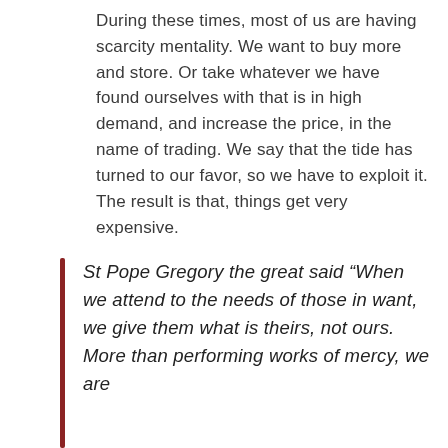During these times, most of us are having scarcity mentality. We want to buy more and store. Or take whatever we have found ourselves with that is in high demand, and increase the price, in the name of trading. We say that the tide has turned to our favor, so we have to exploit it. The result is that, things get very expensive.
St Pope Gregory the great said “When we attend to the needs of those in want, we give them what is theirs, not ours. More than performing works of mercy, we are